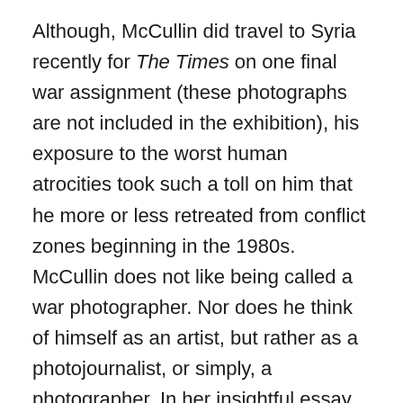Although, McCullin did travel to Syria recently for The Times on one final war assignment (these photographs are not included in the exhibition), his exposure to the worst human atrocities took such a toll on him that he more or less retreated from conflict zones beginning in the 1980s. McCullin does not like being called a war photographer. Nor does he think of himself as an artist, but rather as a photojournalist, or simply, a photographer. In her insightful essay in the exhibition catalogue, Sobey Curatorial Assistant Katherine Stauble writes of the war photographs: “Likely (these images) were not meant to hang on a gallery wall, but rather, to communicate information, to reveal truths and to mobilise action. Now that McCullin has escaped the battlefield and for the past twenty years has been focusing his lens on landscape and still life, one might expect the artist moniker to sit more